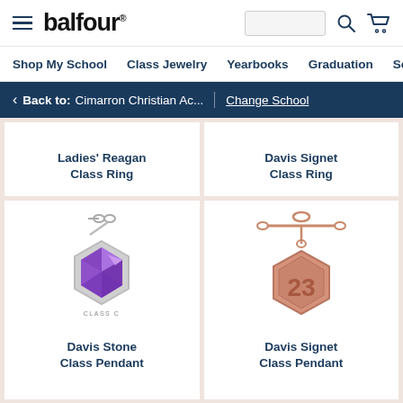balfour - Shop My School | Class Jewelry | Yearbooks | Graduation | Sc
< Back to: Cimarron Christian Ac... | Change School
Ladies' Reagan Class Ring
Davis Signet Class Ring
[Figure (photo): Davis Stone Class Pendant - a purple/amethyst gemstone pendant with silver hexagonal setting on a chain, with CLASS text on the band]
Davis Stone Class Pendant
[Figure (photo): Davis Signet Class Pendant - a rose gold hexagonal pendant with '23' engraved, on a rose gold chain/key ring]
Davis Signet Class Pendant